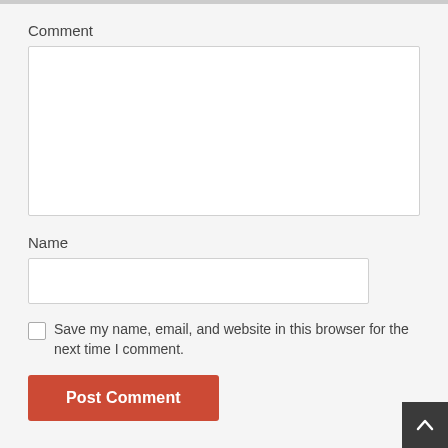Comment
[Figure (screenshot): Empty comment textarea input field]
Name
[Figure (screenshot): Empty name text input field]
Save my name, email, and website in this browser for the next time I comment.
Post Comment